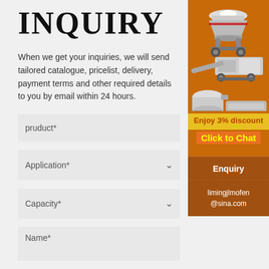INQUIRY
When we get your inquiries, we will send tailored catalogue, pricelist, delivery, payment terms and other required details to you by email within 24 hours.
[Figure (illustration): Orange advertisement panel showing industrial machinery (crushers, grinders) with text 'Enjoy 3% discount' and 'Click to Chat' button, followed by Enquiry section with email limingjlmofen@sina.com]
pruduct*
Application*
Capacity*
Name*
E-mail*
Enquiry
limingjlmofen@sina.com